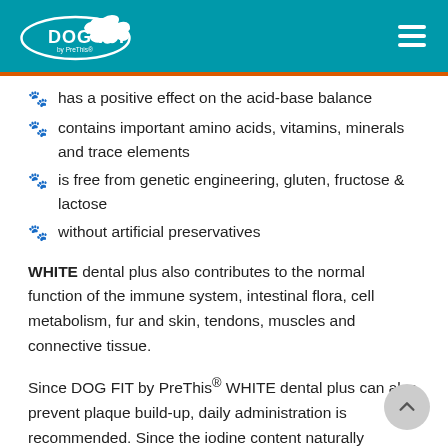DOG FIT by PreThis
has a positive effect on the acid-base balance
contains important amino acids, vitamins, minerals and trace elements
is free from genetic engineering, gluten, fructose & lactose
without artificial preservatives
WHITE dental plus also contributes to the normal function of the immune system, intestinal flora, cell metabolism, fur and skin, tendons, muscles and connective tissue.
Since DOG FIT by PreThis® WHITE dental plus can also prevent plaque build-up, daily administration is recommended. Since the iodine content naturally fluctuates somewhat, pause supplementary feeding (if